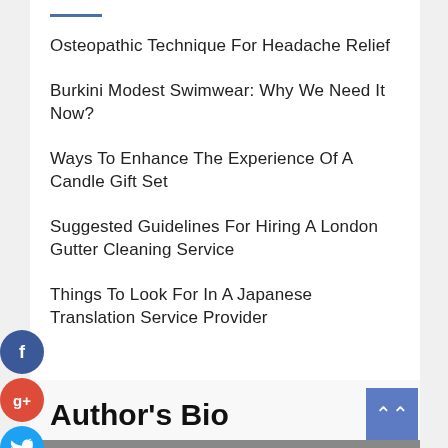Osteopathic Technique For Headache Relief
Burkini Modest Swimwear: Why We Need It Now?
Ways To Enhance The Experience Of A Candle Gift Set
Suggested Guidelines For Hiring A London Gutter Cleaning Service
Things To Look For In A Japanese Translation Service Provider
[Figure (infographic): Social media sharing icons: Facebook (blue circle with f), Google+ (red circle with g+), Twitter (blue circle with bird), Plus (dark circle with +)]
Author's Bio
[Figure (photo): Partially visible image at bottom of page]